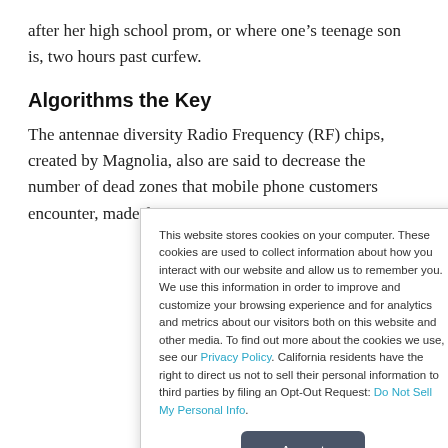after her high school prom, or where one's teenage son is, two hours past curfew.
Algorithms the Key
The antennae diversity Radio Frequency (RF) chips, created by Magnolia, also are said to decrease the number of dead zones that mobile phone customers encounter, made famous
This website stores cookies on your computer. These cookies are used to collect information about how you interact with our website and allow us to remember you. We use this information in order to improve and customize your browsing experience and for analytics and metrics about our visitors both on this website and other media. To find out more about the cookies we use, see our Privacy Policy. California residents have the right to direct us not to sell their personal information to third parties by filing an Opt-Out Request: Do Not Sell My Personal Info.
Accept